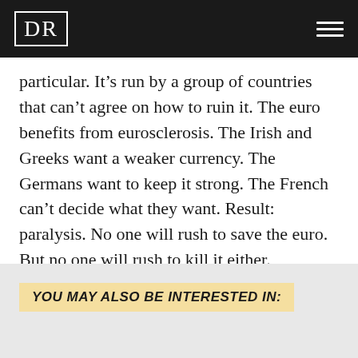DR
particular. It’s run by a group of countries that can’t agree on how to ruin it. The euro benefits from eurosclerosis. The Irish and Greeks want a weaker currency. The Germans want to keep it strong. The French can’t decide what they want. Result: paralysis. No one will rush to save the euro. But no one will rush to kill it either.
Besides, if Friedman is agin’ it…we’re for it.
YOU MAY ALSO BE INTERESTED IN: